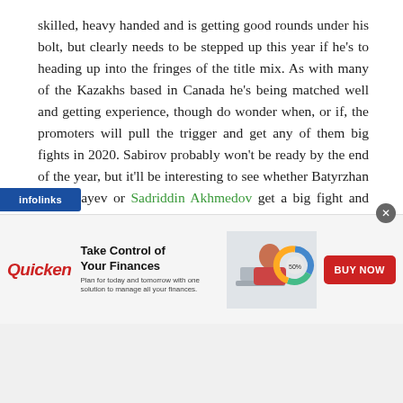skilled, heavy handed and is getting good rounds under his bolt, but clearly needs to be stepped up this year if he's to heading up into the fringes of the title mix. As with many of the Kazakhs based in Canada he's being matched well and getting experience, though do wonder when, or if, the promoters will pull the trigger and get any of them big fights in 2020. Sabirov probably won't be ready by the end of the year, but it'll be interesting to see whether Batyrzhan Jukembayev or Sadriddin Akhmedov get a big fight and lead the way for Sabirov.
Christian Mbilli (16-0, 15)
Cameroonian born Frenchman Christian Mbilli is one of the most promising fighters in the division, and one of the most exciting. He turned professional after a very successful amateur career, that included an appearance at the 2016 [Olympics] and time competing in the WSB, and since 2017 h...
[Figure (infographic): Quicken advertisement banner with infolinks tag. Shows 'Take Control of Your Finances' headline with Quicken logo in red italic, descriptive subtext, an image of a woman working on a laptop with a donut chart graphic, and a red BUY NOW button. An infolinks dark blue tag appears at the top left of the ad area, and a close (x) button at the top right.]